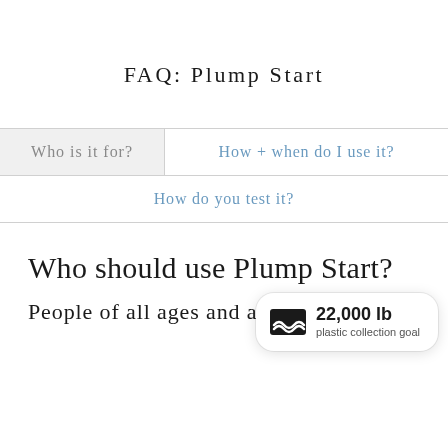FAQ: Plump Start
Who is it for?
How + when do I use it?
How do you test it?
Who should use Plump Start?
People of all ages and al…
[Figure (infographic): Badge showing ocean plastic collection goal: 22,000 lb plastic collection goal, with wave/ocean icon]